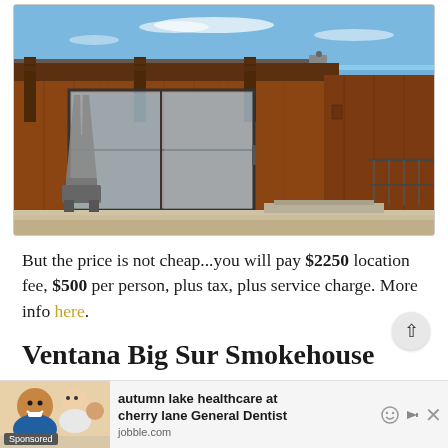[Figure (photo): Exterior photo of a modern rustic building with wooden/steel corten walls, large glass sliding door, two pyramid-shaped outdoor patio heaters, concrete patio, metal railing, and ocean view in background under blue sky]
But the price is not cheap...you will pay $2250 location fee, $500 per person, plus tax, plus service charge. More info here.
Ventana Big Sur Smokehouse
[Figure (photo): Advertisement banner: autumn lake healthcare at cherry lane General Dentist, sponsored by jobble.com, showing smiling people photo on left]
lots of